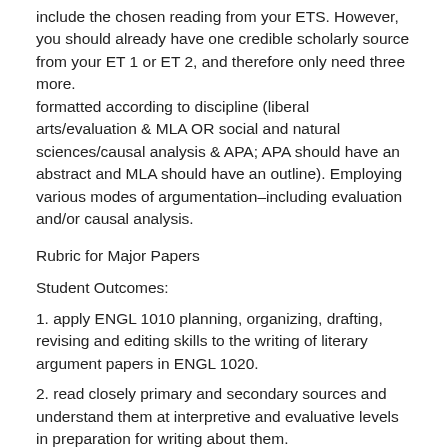include the chosen reading from your ETS. However, you should already have one credible scholarly source from your ET 1 or ET 2, and therefore only need three more.
formatted according to discipline (liberal arts/evaluation &amp; MLA OR social and natural sciences/causal analysis &amp; APA; APA should have an abstract and MLA should have an outline). Employing various modes of argumentation–including evaluation and/or causal analysis.
Rubric for Major Papers
Student Outcomes:
1. apply ENGL 1010 planning, organizing, drafting, revising and editing skills to the writing of literary argument papers in ENGL 1020.
2. read closely primary and secondary sources and understand them at interpretive and evaluative levels in preparation for writing about them.
3. distinguish among opinions, facts, inferences, and persuasive approaches in primary and secondary sources.